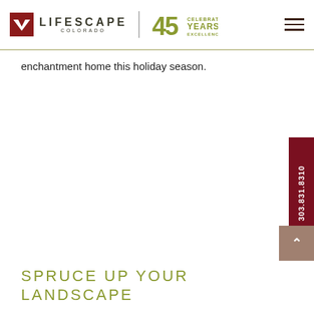LIFESCAPE COLORADO | 45 CELEBRATING YEARS EXCELLENCE
enchantment home this holiday season.
SPRUCE UP YOUR LANDSCAPE